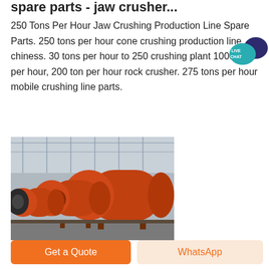spare parts - jaw crusher...
250 Tons Per Hour Jaw Crushing Production Line Spare Parts. 250 tons per hour cone crushing production line chiness. 30 tons per hour to 250 crushing plant 1000 tons per hour, 200 ton per hour rock crusher. 275 tons per hour mobile crushing line parts.
[Figure (photo): Industrial orange ball mills / cylindrical crushers lined up in a factory warehouse with steel structure roof]
Get a Quote
WhatsApp